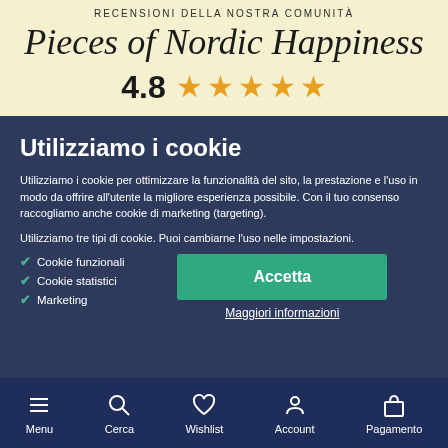RECENSIONI DELLA NOSTRA COMUNITÀ
Pieces of Nordic Happiness
4.8 ★★★★★
Utilizziamo i cookie
Utilizziamo i cookie per ottimizzare la funzionalità del sito, la prestazione e l'uso in modo da offrire all'utente la migliore esperienza possibile. Con il tuo consenso raccogliamo anche cookie di marketing (targeting).
Utilizziamo tre tipi di cookie. Puoi cambiarne l'uso nelle impostazioni.
Cookie funzionali
Cookie statistici
Marketing
Accetta
Maggiori informazioni
Menu  Cerca  Wishlist  Account  Pagamento